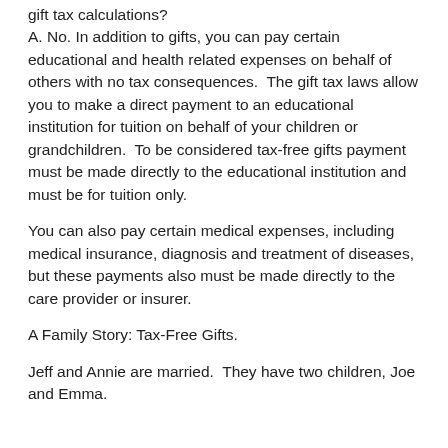gift tax calculations?
A. No. In addition to gifts, you can pay certain educational and health related expenses on behalf of others with no tax consequences.  The gift tax laws allow you to make a direct payment to an educational institution for tuition on behalf of your children or grandchildren.  To be considered tax-free gifts payment must be made directly to the educational institution and must be for tuition only.
You can also pay certain medical expenses, including medical insurance, diagnosis and treatment of diseases, but these payments also must be made directly to the care provider or insurer.
A Family Story: Tax-Free Gifts.
Jeff and Annie are married.  They have two children, Joe and Emma.